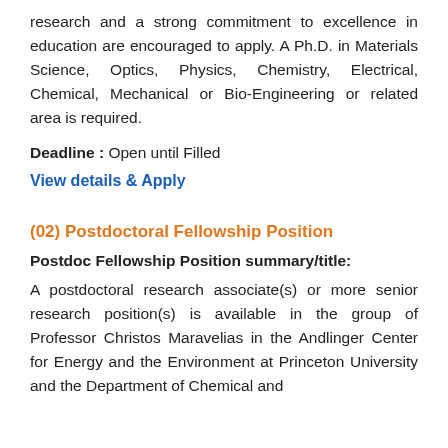research and a strong commitment to excellence in education are encouraged to apply. A Ph.D. in Materials Science, Optics, Physics, Chemistry, Electrical, Chemical, Mechanical or Bio-Engineering or related area is required.
Deadline : Open until Filled
View details & Apply
(02) Postdoctoral Fellowship Position
Postdoc Fellowship Position summary/title:
A postdoctoral research associate(s) or more senior research position(s) is available in the group of Professor Christos Maravelias in the Andlinger Center for Energy and the Environment at Princeton University and the Department of Chemical and